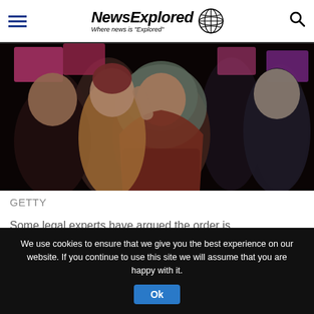NewsExplored — Where news is "Explored"
[Figure (photo): Crowd of protesters at a demonstration, including a woman wearing a green hijab and red coat in the foreground, others holding pink and purple signs behind her]
GETTY
Some legal experts have argued the order is unconstitutional.
We use cookies to ensure that we give you the best experience on our website. If you continue to use this site we will assume that you are happy with it.